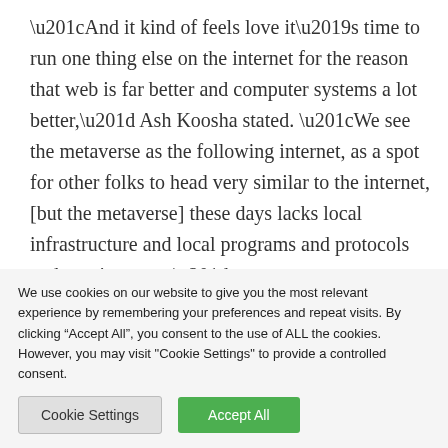“And it kind of feels love it’s time to run one thing else on the internet for the reason that web is far better and computer systems a lot better,” Ash Koosha stated. “We see the metaverse as the following internet, as a spot for other folks to head very similar to the internet, [but the metaverse] these days lacks local infrastructure and local programs and protocols and requirements.”
Fanatics will be capable of have interaction with interactive track stories from main artists which have
We use cookies on our website to give you the most relevant experience by remembering your preferences and repeat visits. By clicking “Accept All”, you consent to the use of ALL the cookies. However, you may visit "Cookie Settings" to provide a controlled consent.